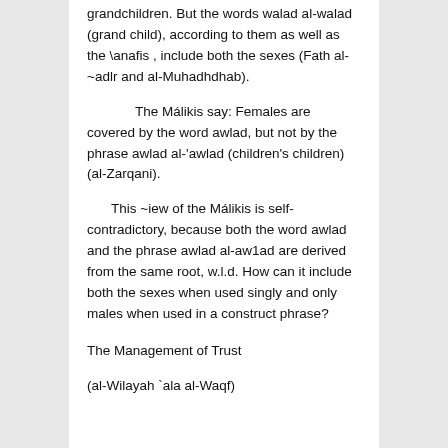grandchildren. But the words walad al-walad (grand child), according to them as well as the \anafis , include both the sexes (Fath al-~adlr and al-Muhadhdhab).
The Málikis say: Females are covered by the word awlad, but not by the phrase awlad al-'awlad (children's children) (al-Zarqani).
This ~iew of the Málikis is self-contradictory, because both the word awlad and the phrase awlad al-aw1ad are derived from the same root, w.l.d. How can it include both the sexes when used singly and only males when used in a construct phrase?
The Management of Trust
(al-Wilayah `ala al-Waqf)
The wilayah over waqf is the authority granted to someone for managing,